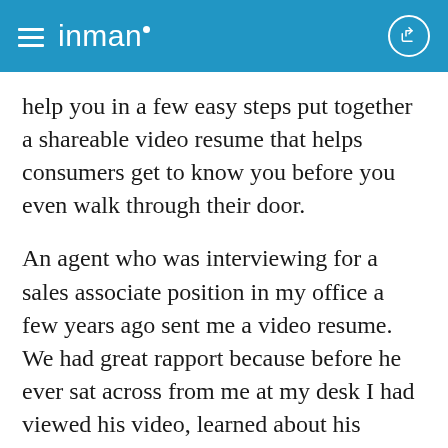inman
help you in a few easy steps put together a shareable video resume that helps consumers get to know you before you even walk through their door.
An agent who was interviewing for a sales associate position in my office a few years ago sent me a video resume. We had great rapport because before he ever sat across from me at my desk I had viewed his video, learned about his education, professional background, his family life, his hobbies and had gotten a glimpse of his personality. It’s safe to say I was impressed. Once he was up and running as a real estate